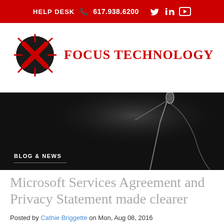HELP DESK 617.938.6200
[Figure (logo): Focus Technology logo with black circle X emblem and red Focus Technology text]
[Figure (photo): Black and white photo of a microphone with spotlight, dark background. Blog & News section label overlay.]
BLOG & NEWS
Microsoft Services Agreement and Privacy Statement made clearer
Posted by Cathie Briggette on Mon, Aug 08, 2016